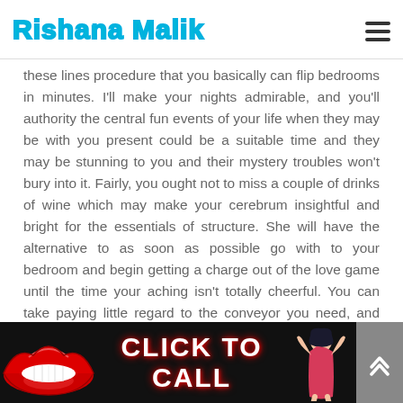Rishana Malik
these lines procedure that you basically can flip bedrooms in minutes. I'll make your nights admirable, and you'll authority the central fun events of your life when they may be with you present could be a suitable time and they may be stunning to you and their mystery troubles won't bury into it. Fairly, you ought not to miss a couple of drinks of wine which may make your cerebrum insightful and bright for the essentials of structure. She will have the alternative to as soon as possible go with to your bedroom and begin getting a charge out of the love game until the time your aching isn't totally cheerful. You can take paying little regard to the conveyor you need, and whatever the necessities you have, you can enlighten it unpredictably.
[Figure (infographic): Black banner with red lips on left, CLICK TO CALL text in white/red, pin-up girl illustration on right, and a grey scroll-up button on far right.]